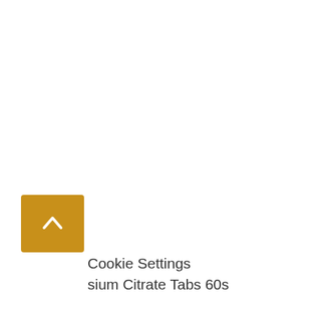[Figure (other): Gold/amber colored button with white upward chevron arrow icon (back to top button)]
Cookie Settings
sium Citrate Tabs 60s